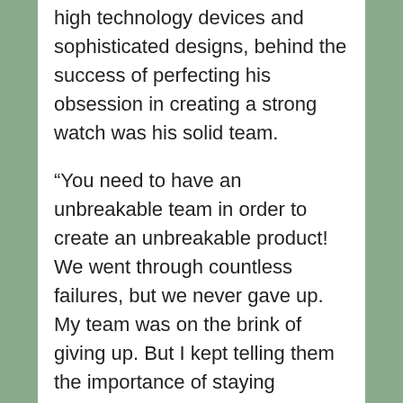high technology devices and sophisticated designs, behind the success of perfecting his obsession in creating a strong watch was his solid team.
“You need to have an unbreakable team in order to create an unbreakable product! We went through countless failures, but we never gave up. My team was on the brink of giving up. But I kept telling them the importance of staying persistent in achieving a goal. We had to finish what we had started,” he recalled.
“The watch stunningly passed the endurance test, and we experienced our